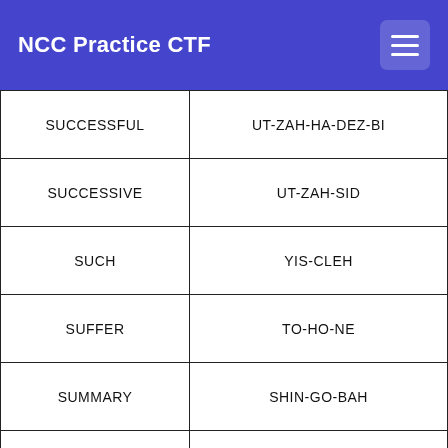NCC Practice CTF
|  |  |
| --- | --- |
| SUCCESSFUL | UT-ZAH-HA-DEZ-BI |
| SUCCESSIVE | UT-ZAH-SID |
| SUCH | YIS-CLEH |
| SUFFER | TO-HO-NE |
| SUMMARY | SHIN-GO-BAH |
| SUPPLEMENTARY | TKA-GO-NE-NAN-DEY |
| SUPPLY | NAL-YEH-HI |
| SUPPLY SHIP | NALGA-HI-TSIN-NAH- |
| SUPPORT | BA-AH-HOT-GLI |
| SURRENDER | NE-NA-CHA |